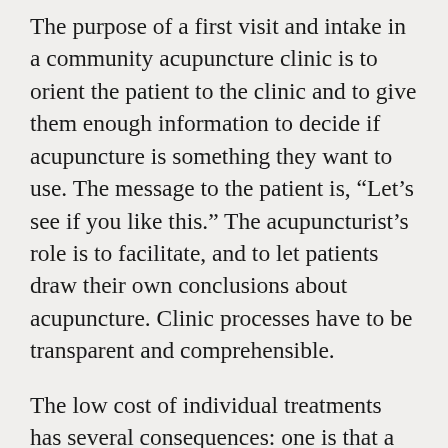The purpose of a first visit and intake in a community acupuncture clinic is to orient the patient to the clinic and to give them enough information to decide if acupuncture is something they want to use. The message to the patient is, “Let’s see if you like this.” The acupuncturist’s role is to facilitate, and to let patients draw their own conclusions about acupuncture. Clinic processes have to be transparent and comprehensible.
The low cost of individual treatments has several consequences: one is that a lot of patients have to try, and like, acupuncture for the clinic to survive; another is that there is little or no budget for marketing. Community acupuncture clinics must rely on word of mouth to bring in new patients. Because acupuncture is unfamiliar to many